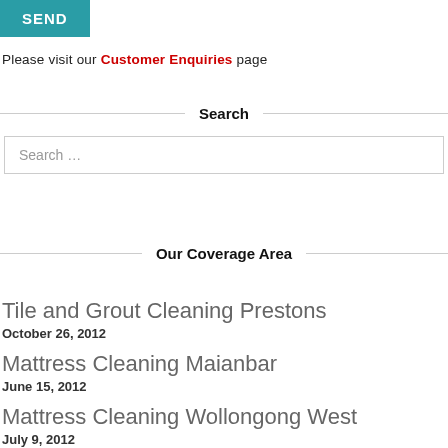[Figure (other): SEND button with teal/dark cyan background and white bold text]
Please visit our Customer Enquiries page
Search
Search …
Our Coverage Area
Tile and Grout Cleaning Prestons
October 26, 2012
Mattress Cleaning Maianbar
June 15, 2012
Mattress Cleaning Wollongong West
July 9, 2012
Upholstery Cleaning Tregear
October 1, 2011